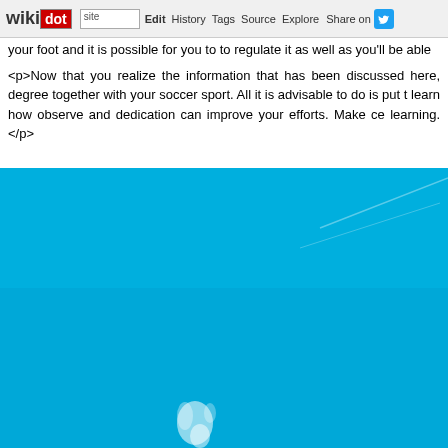wikidot | site Edit History Tags Source Explore Share on [Twitter]
your foot and it is possible for you to to regulate it as well as you'll be able
<p>Now that you realize the information that has been discussed here, degree together with your soccer sport. All it is advisable to do is put t learn how observe and dedication can improve your efforts. Make ce learning.</p>
[Figure (photo): Large photograph with predominantly bright blue sky background, with faint white streaks or contrails visible. At the bottom of the image there appears to be a small white figure or smoke element.]